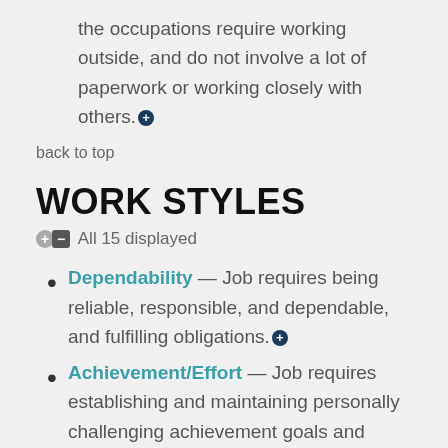the occupations require working outside, and do not involve a lot of paperwork or working closely with others.
back to top
WORK STYLES
All 15 displayed
Dependability — Job requires being reliable, responsible, and dependable, and fulfilling obligations.
Achievement/Effort — Job requires establishing and maintaining personally challenging achievement goals and